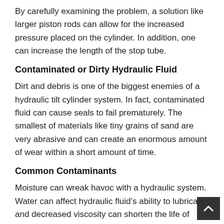By carefully examining the problem, a solution like larger piston rods can allow for the increased pressure placed on the cylinder. In addition, one can increase the length of the stop tube.
Contaminated or Dirty Hydraulic Fluid
Dirt and debris is one of the biggest enemies of a hydraulic tilt cylinder system. In fact, contaminated fluid can cause seals to fail prematurely. The smallest of materials like tiny grains of sand are very abrasive and can create an enormous amount of wear within a short amount of time.
Common Contaminants
Moisture can wreak havoc with a hydraulic system. Water can affect hydraulic fluid’s ability to lubricate and decreased viscosity can shorten the life of components. This is especially true if the seals are made of polyurethane. Plus, some internal parts of made from steel, which can easily corrode...